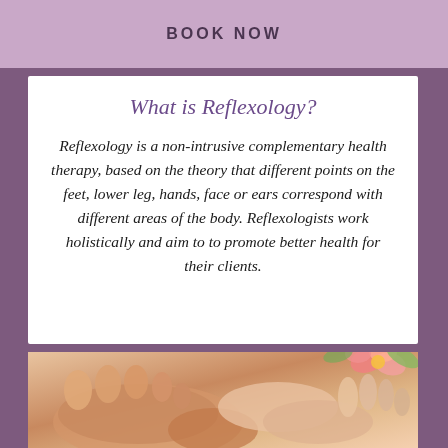BOOK NOW
What is Reflexology?
Reflexology is a non-intrusive complementary health therapy, based on the theory that different points on the feet, lower leg, hands, face or ears correspond with different areas of the body. Reflexologists work holistically and aim to to promote better health for their clients.
[Figure (photo): Photo of a person receiving reflexology foot massage, with flowers visible in the background]